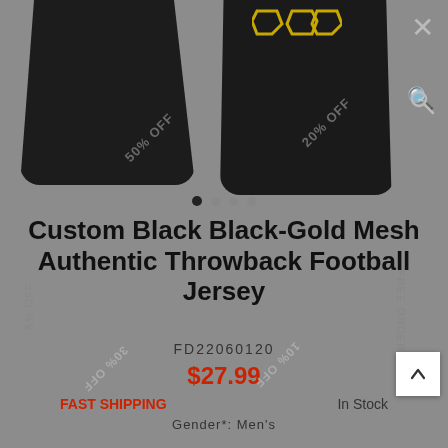[Figure (photo): Product listing screenshot showing two black football jerseys with gold logo, overlaid with discount tags (50% OFF, 20% OFF, 5% OFF, FREE ORDER, 30% OFF, 10% OFF), carousel dots, close and zoom buttons]
Custom Black Black-Gold Mesh Authentic Throwback Football Jersey
FD22060120
$27.99
FAST SHIPPING
In Stock
Gender*: Men's